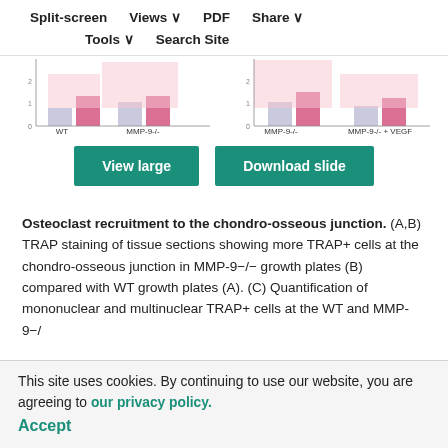[Figure (bar-chart): Two grouped bar charts showing TRAP+ cell counts. Left chart: WT vs MMP-9-/- groups with mononuclear (blue/lavender) and multinuclear (pink/red) bars. Right chart: MMP-9-/- vs MMP-9-/- + VEGF groups with similar bar colors. Y-axis appears to go 0-2 with tick at 1.]
[Figure (screenshot): Website navigation toolbar showing Split-screen, Views, PDF, Share, Tools, Search Site options]
View large
Download slide
Osteoclast recruitment to the chondro-osseous junction. (A,B) TRAP staining of tissue sections showing more TRAP+ cells at the chondro-osseous junction in MMP-9−/− growth plates (B) compared with WT growth plates (A). (C) Quantification of mononuclear and multinuclear TRAP+ cells at the WT and MMP-9−/− growth plates. (D,E) TRAP staining of tissue sections showing a reduced number of TRAP+ cells at the chondro-osseous junction in MMP-9−/− growth plates treated with VEGF, (E) compared with untreated MMP-9−/− growth plates (D). (F) Quantification of
This site uses cookies. By continuing to use our website, you are agreeing to our privacy policy.
Accept